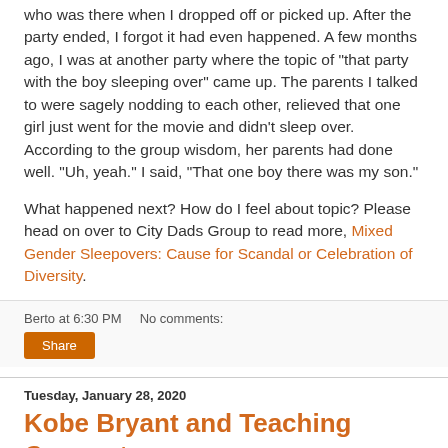who was there when I dropped off or picked up. After the party ended, I forgot it had even happened. A few months ago, I was at another party where the topic of "that party with the boy sleeping over" came up. The parents I talked to were sagely nodding to each other, relieved that one girl just went for the movie and didn't sleep over. According to the group wisdom, her parents had done well. "Uh, yeah." I said, "That one boy there was my son."
What happened next? How do I feel about topic? Please head on over to City Dads Group to read more, Mixed Gender Sleepovers: Cause for Scandal or Celebration of Diversity.
Berto at 6:30 PM    No comments:
Share
Tuesday, January 28, 2020
Kobe Bryant and Teaching Consent